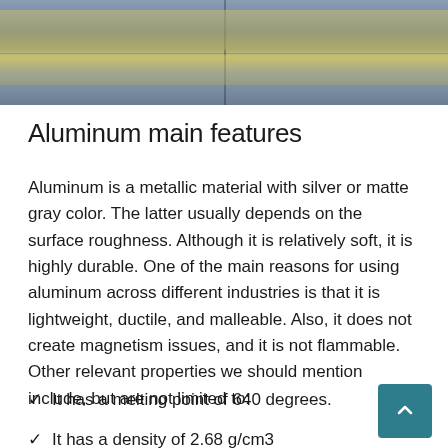[Figure (photo): Close-up photograph of aluminum material showing silver and matte gray/yellow tones with surface texture and panel lines]
Aluminum main features
Aluminum is a metallic material with silver or matte gray color. The latter usually depends on the surface roughness. Although it is relatively soft, it is highly durable. One of the main reasons for using aluminum across different industries is that it is lightweight, ductile, and malleable. Also, it does not create magnetism issues, and it is not flammable. Other relevant properties we should mention include, but are not limited to:
It has a melting point of 640 degrees.
It has a density of 2.68 g/cm3